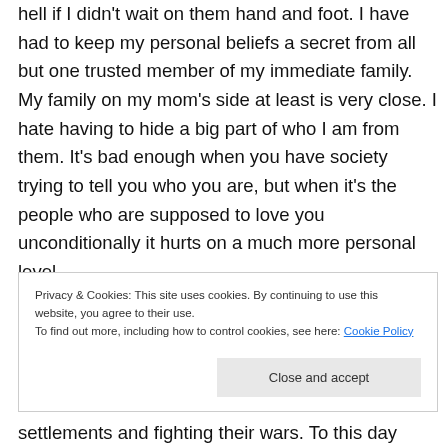hell if I didn't wait on them hand and foot. I have had to keep my personal beliefs a secret from all but one trusted member of my immediate family. My family on my mom's side at least is very close. I hate having to hide a big part of who I am from them. It's bad enough when you have society trying to tell you who you are, but when it's the people who are supposed to love you unconditionally it hurts on a much more personal level.
Privacy & Cookies: This site uses cookies. By continuing to use this website, you agree to their use. To find out more, including how to control cookies, see here: Cookie Policy
settlements and fighting their wars. To this day